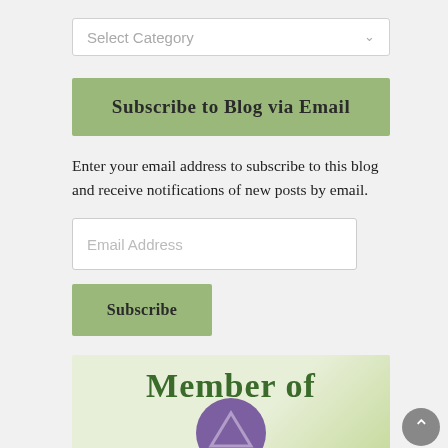[Figure (screenshot): A dropdown selector UI element with placeholder text 'Select Category' and a chevron arrow on the right, with a light gray border and white background.]
Subscribe to Blog via Email
Enter your email address to subscribe to this blog and receive notifications of new posts by email.
[Figure (screenshot): An email address input field with placeholder text 'Email Address' and a light gray border.]
[Figure (screenshot): A green 'Subscribe' button.]
[Figure (illustration): Partial view of a 'Member of' badge/logo with green text on a light green background and a purple circular emblem at the bottom center.]